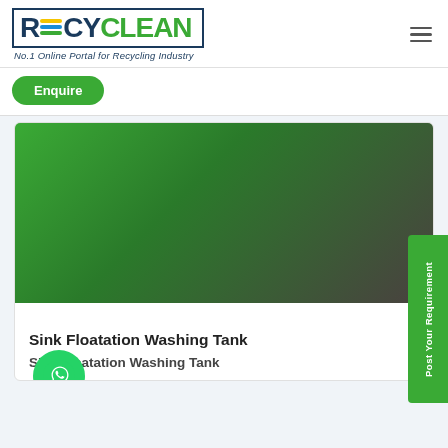[Figure (logo): Recyclean logo with colored stripes and text 'No.1 Online Portal for Recycling Industry']
Enquire
[Figure (photo): Green to dark gradient image representing Sink Floatation Washing Tank product]
Sink Floatation Washing Tank
Sink Floatation Washing Tank